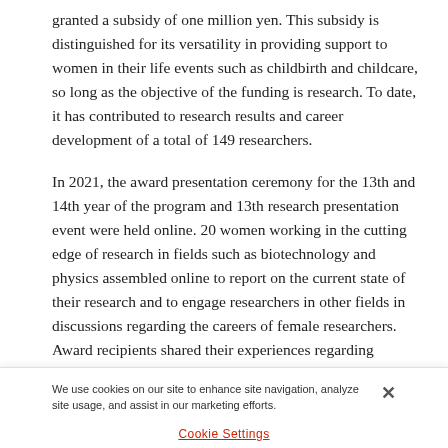granted a subsidy of one million yen. This subsidy is distinguished for its versatility in providing support to women in their life events such as childbirth and childcare, so long as the objective of the funding is research. To date, it has contributed to research results and career development of a total of 149 researchers.
In 2021, the award presentation ceremony for the 13th and 14th year of the program and 13th research presentation event were held online. 20 women working in the cutting edge of research in fields such as biotechnology and physics assembled online to report on the current state of their research and to engage researchers in other fields in discussions regarding the careers of female researchers. Award recipients shared their experiences regarding leadership in pursuing research and balance with personal lives. The advantages of holding an online event were utilized for more convenient attendance among award recipients
We use cookies on our site to enhance site navigation, analyze site usage, and assist in our marketing efforts.
Cookie Settings